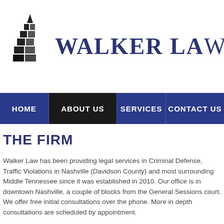Walker Law
[Figure (logo): Walker Law firm logo — stylized stacked geometric shapes resembling a tree or arrow pointing upward, in dark gray/black]
THE FIRM
Walker Law has been providing legal services in Criminal Defense, Traffic Violations in Nashville (Davidson County) and most surrounding Middle Tennessee since it was established in 2010. Our office is in downtown Nashville, a couple of blocks from the General Sessions court. We offer free initial consultations over the phone. More in depth consultations are scheduled by appointment.
Walker Law handles Misdemeanor and Felony Criminal Offenses, Contested, and Default Divorces, DUI, Domestic Assault, Assault, Personal Injury, Simple Possession, Drug Paraphernalia Drug...